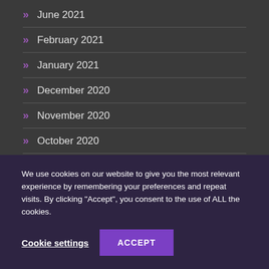» June 2021
» February 2021
» January 2021
» December 2020
» November 2020
» October 2020
» September 2020
» August 2020
We use cookies on our website to give you the most relevant experience by remembering your preferences and repeat visits. By clicking “Accept”, you consent to the use of ALL the cookies.
Cookie settings  ACCEPT